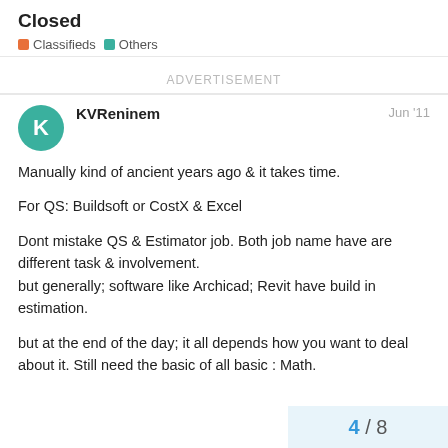Closed
Classifieds  Others
ADVERTISEMENT
KVReninem
Jun '11
Manually kind of ancient years ago & it takes time.

For QS: Buildsoft or CostX & Excel

Dont mistake QS & Estimator job. Both job name have are different task & involvement.
but generally; software like Archicad; Revit have build in estimation.

but at the end of the day; it all depends how you want to deal about it. Still need the basic of all basic : Math.
4 / 8